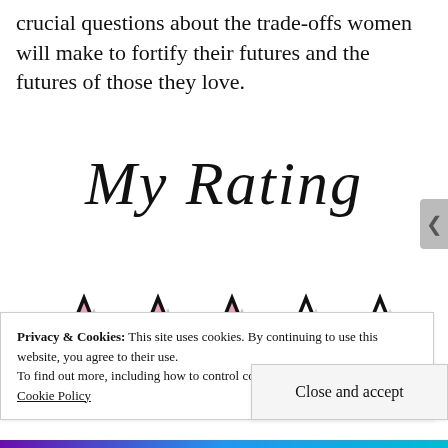crucial questions about the trade-offs women will make to fortify their futures and the futures of those they love.
[Figure (illustration): Cursive/script text reading 'My Rating' in decorative calligraphy font]
[Figure (illustration): Five stars rating: three filled pink stars and two empty/outline stars, representing a 3 out of 5 star rating]
Privacy & Cookies: This site uses cookies. By continuing to use this website, you agree to their use.
To find out more, including how to control cookies, see here:
Cookie Policy
Close and accept